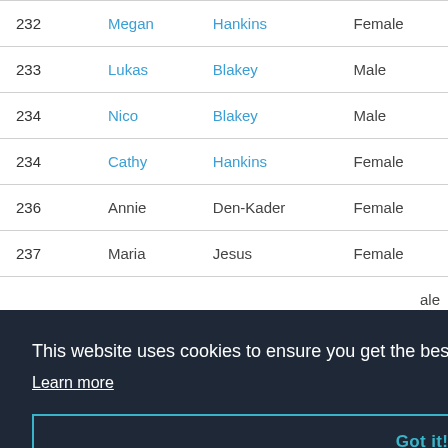| ID | First Name | Last Name | Gender |
| --- | --- | --- | --- |
| 232 | Megan | Hankins | Female |
| 233 | Lukas | Blakey | Male |
| 234 | Nico | Blakey | Male |
| 234 | Cathy | Hankins | Female |
| 236 | Annie | Den-Kader | Female |
| 237 | Maria | Jesus | Female |
|  |  |  | ale |
|  |  |  | ale Be |
This website uses cookies to ensure you get the best experience on our website. Learn more
Got it!